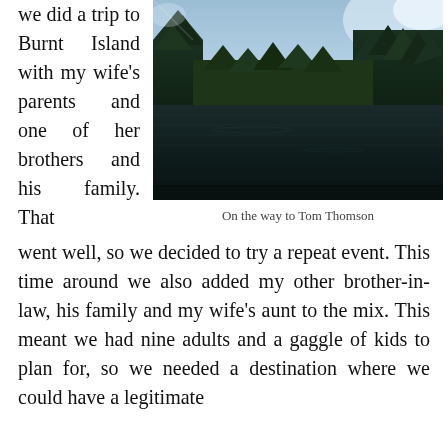we did a trip to Burnt Island with my wife's parents and one of her brothers and his family. That
[Figure (photo): A calm lake scene with dark reflective water, surrounded by dense evergreen forest under a clear blue sky, taken from water level looking down the lake.]
On the way to Tom Thomson
went well, so we decided to try a repeat event. This time around we also added my other brother-in-law, his family and my wife’s aunt to the mix. This meant we had nine adults and a gaggle of kids to plan for, so we needed a destination where we could have a legitimate